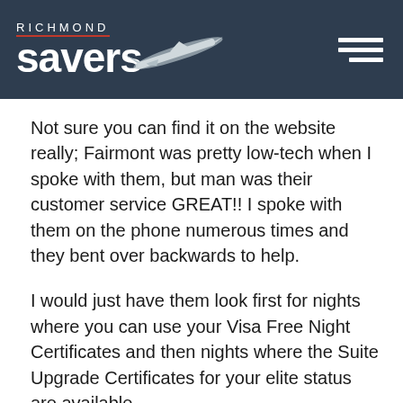RICHMOND savers
Not sure you can find it on the website really; Fairmont was pretty low-tech when I spoke with them, but man was their customer service GREAT!! I spoke with them on the phone numerous times and they bent over backwards to help.
I would just have them look first for nights where you can use your Visa Free Night Certificates and then nights where the Suite Upgrade Certificates for your elite status are available.
You're going to really like the hotel!